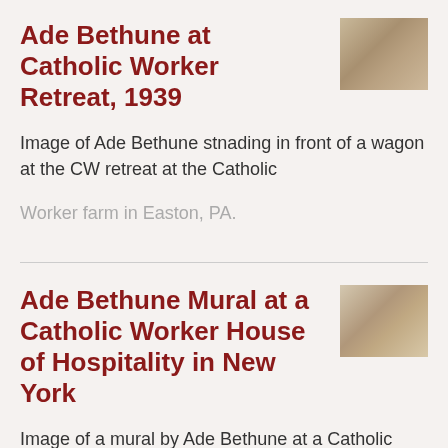Ade Bethune at Catholic Worker Retreat, 1939
[Figure (photo): Sepia-toned thumbnail photograph of Ade Bethune standing in front of a wagon at the Catholic Worker retreat.]
Image of Ade Bethune stnading in front of a wagon at the CW retreat at the Catholic Worker farm in Easton, PA.
Ade Bethune Mural at a Catholic Worker House of Hospitality in New York
[Figure (photo): Sepia-toned thumbnail photograph of Ade Bethune's mural at a Catholic Worker House of Hospitality.]
Image of a mural by Ade Bethune at a Catholic Worker House of Hospitality in New York York. The mural is of a woman worker